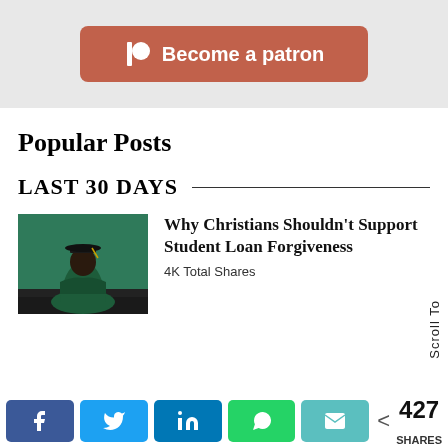[Figure (other): Patreon 'Become a patron' button with Patreon logo icon on terracotta/rust colored rounded rectangle button]
Popular Posts
LAST 30 DAYS
[Figure (photo): Photo of a person wearing a green graduation gown and mortarboard cap, viewed from behind, sitting on a step]
Why Christians Shouldn't Support Student Loan Forgiveness
4K Total Shares
Scroll To
427 SHARES